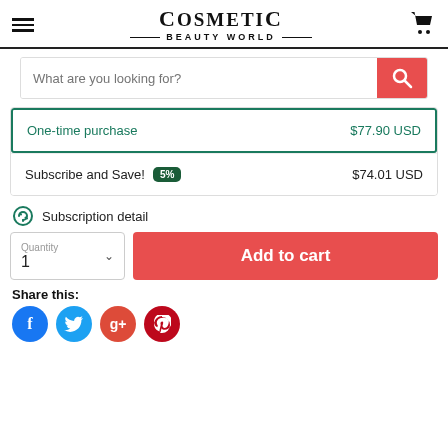[Figure (logo): Cosmetic Beauty World logo with hamburger menu and cart icon]
What are you looking for?
One-time purchase $77.90 USD
Subscribe and Save! 5% $74.01 USD
Subscription detail
Quantity 1
Add to cart
Share this:
[Figure (illustration): Social media icons: Facebook (blue), Twitter (light blue), Google+ (red), Pinterest (dark red)]